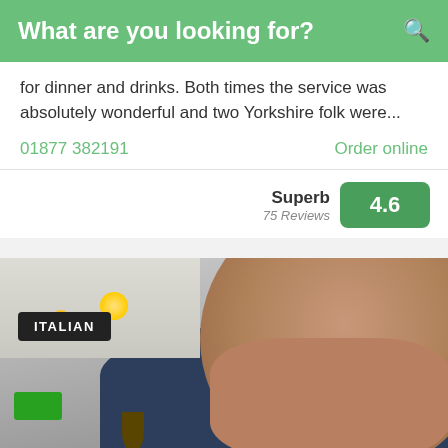What are you looking for?
for dinner and drinks. Both times the service was absolutely wonderful and two Yorkshire folk were...
01877 382191
Order online
Superb 75 Reviews 4.6
[Figure (photo): Close-up photo of a man's face and upper body in a dark blue corduroy shirt, taken inside what appears to be a restaurant. An 'ITALIAN' label tag is visible in the top-left corner of the image. The restaurant interior with ceiling lights and an exit sign is visible in the background.]